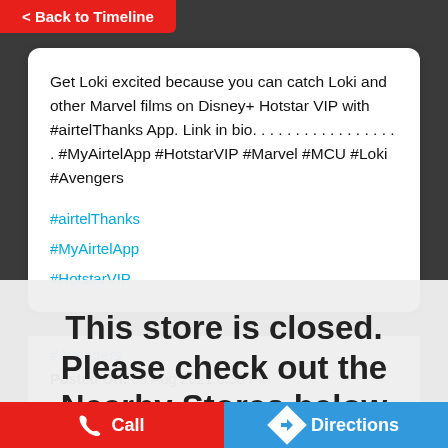< Back to Timeline
Get Loki excited because you can catch Loki and other Marvel films on Disney+ Hotstar VIP with #airtelThanks App. Link in bio. . . . . . . . . . . . . . . . . . #MyAirtelApp #HotstarVIP #Marvel #MCU #Loki #Avengers
#airtelThanks
#MyAirtelApp
#HotstarVIP
This store is closed. Please check out the Nearby Stores below
#Avengers
Posted On: 09 Aug 2021 6:38 PM
Call   Directions